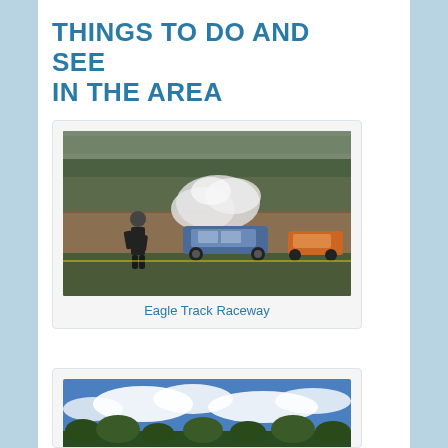THINGS TO DO AND SEE IN THE AREA
[Figure (photo): Photo of Eagle Track Raceway showing a race car emitting smoke on a dirt track, with a person in dark clothing and helmet standing nearby, and another car visible in the background. Grandstands and green field visible in the background.]
Eagle Track Raceway
[Figure (photo): Photo showing blue sky with white clouds and tree tops at the bottom, partial view of a second attraction card.]